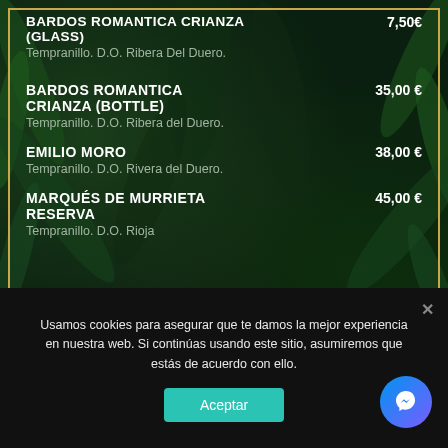BARDOS ROMANTICA CRIANZA (GLASS)  7,50€
Tempranillo. D.O. Ribera Del Duero.
BARDOS ROMANTICA CRIANZA (BOTTLE)  35,00 €
Tempranillo. D.O. Ribera del Duero.
EMILIO MORO  38,00 €
Tempranillo. D.O. Rivera del Duero.
MARQUÉS DE MURRIETA RESERVA  45,00 €
Tempranillo. D.O. Rioja
Usamos cookies para asegurar que te damos la mejor experiencia en nuestra web. Si continúas usando este sitio, asumiremos que estás de acuerdo con ello.
Aceptar